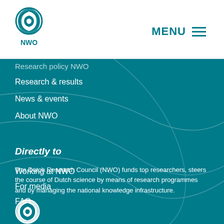[Figure (logo): NWO logo - circular spiral design with NWO text below, teal color on white background]
MENU
Research policy NWO
Research & results
News & events
About NWO
Directly to
Working at NWO
For media
FAQ
The Dutch Research Council (NWO) funds top researchers, steers the course of Dutch science by means of research programmes and by managing the national knowledge infrastructure.
[Figure (logo): NWO logo - circular spiral design, white on teal background, partial view at bottom]